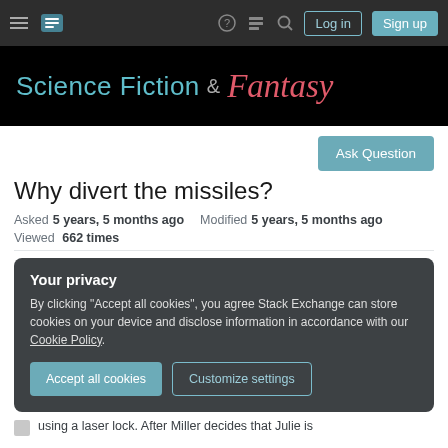Science Fiction & Fantasy — Stack Exchange navigation bar with Log in and Sign up buttons
[Figure (screenshot): Science Fiction & Fantasy Stack Exchange site banner with teal 'Science Fiction' text and red italic 'Fantasy' text on black background]
Ask Question
Why divert the missiles?
Asked 5 years, 5 months ago   Modified 5 years, 5 months ago   Viewed 662 times
Your privacy
By clicking "Accept all cookies", you agree Stack Exchange can store cookies on your device and disclose information in accordance with our Cookie Policy.
Accept all cookies   Customize settings
using a laser lock. After Miller decides that Julie is